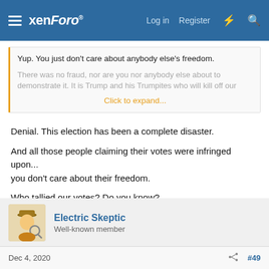xenForo — Log in  Register
Yup. You just don't care about anybody else's freedom.
There was no fraud, nor are you nor anybody else about to demonstrate it. It is Trump and his Trumpites who will kill off our
Click to expand...
Denial. This election has been a complete disaster.

And all those people claiming their votes were infringed upon... you don't care about their freedom.

Who tallied our votes? Do you know?

Do you even care?
Electric Skeptic
Well-known member
Dec 4, 2020   #49